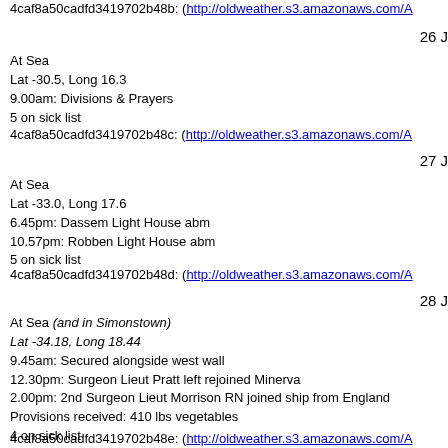4caf8a50cadfd3419702b48b: (http://oldweather.s3.amazonaws.com/A
26 J
At Sea
Lat -30.5, Long 16.3
9.00am: Divisions & Prayers
5 on sick list
4caf8a50cadfd3419702b48c: (http://oldweather.s3.amazonaws.com/A
27 J
At Sea
Lat -33.0, Long 17.6
6.45pm: Dassem Light House abm
10.57pm: Robben Light House abm
5 on sick list
4caf8a50cadfd3419702b48d: (http://oldweather.s3.amazonaws.com/A
28 J
At Sea (and in Simonstown)
Lat -34.18, Long 18.44
9.45am: Secured alongside west wall
12.30pm: Surgeon Lieut Pratt left rejoined Minerva
2.00pm: 2nd Surgeon Lieut Morrison RN joined ship from England
Provisions received: 410 lbs vegetables
4 on sick list
4caf8a50cadfd3419702b48e: (http://oldweather.s3.amazonaws.com/A